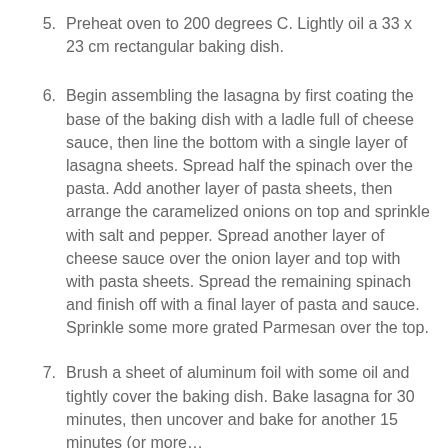5. Preheat oven to 200 degrees C. Lightly oil a 33 x 23 cm rectangular baking dish.
6. Begin assembling the lasagna by first coating the base of the baking dish with a ladle full of cheese sauce, then line the bottom with a single layer of lasagna sheets. Spread half the spinach over the pasta. Add another layer of pasta sheets, then arrange the caramelized onions on top and sprinkle with salt and pepper. Spread another layer of cheese sauce over the onion layer and top with with pasta sheets. Spread the remaining spinach and finish off with a final layer of pasta and sauce. Sprinkle some more grated Parmesan over the top.
7. Brush a sheet of aluminum foil with some oil and tightly cover the baking dish. Bake lasagna for 30 minutes, then uncover and bake for another 15 minutes (or more…